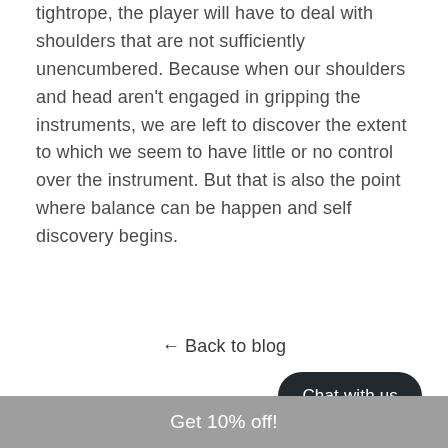tightrope, the player will have to deal with shoulders that are not sufficiently unencumbered. Because when our shoulders and head aren't engaged in gripping the instruments, we are left to discover the extent to which we seem to have little or no control over the instrument. But that is also the point where balance can be happen and self discovery begins.
← Back to blog
Chat with us
Get 10% off!